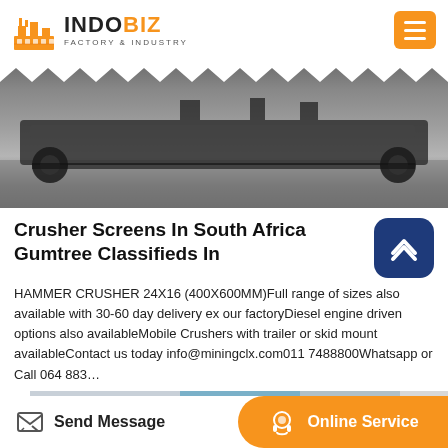INDOBIZ FACTORY & INDUSTRY
[Figure (photo): Industrial crusher/conveyor machine photographed on gravel ground, black and white image with zigzag decorative border at top]
Crusher Screens In South Africa Gumtree Classifieds In
HAMMER CRUSHER 24X16 (400X600MM)Full range of sizes also available with 30-60 day delivery ex our factoryDiesel engine driven options also availableMobile Crushers with trailer or skid mount availableContact us today info@miningclx.com011 7488800Whatsapp or Call 064 883...
[Figure (photo): Partial bottom strip showing another industrial image]
Send Message | Online Service